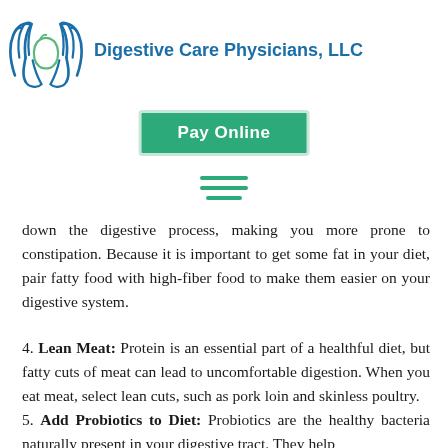[Figure (logo): Digestive Care Physicians, LLC logo with two hands cradling a stomach icon, and company name in blue text]
[Figure (other): Green 'Pay Online' button with light border]
[Figure (other): Hamburger menu icon with three green horizontal lines]
down the digestive process, making you more prone to constipation. Because it is important to get some fat in your diet, pair fatty food with high-fiber food to make them easier on your digestive system.
4. Lean Meat: Protein is an essential part of a healthful diet, but fatty cuts of meat can lead to uncomfortable digestion. When you eat meat, select lean cuts, such as pork loin and skinless poultry.
5. Add Probiotics to Diet: Probiotics are the healthy bacteria naturally present in your digestive tract. They help